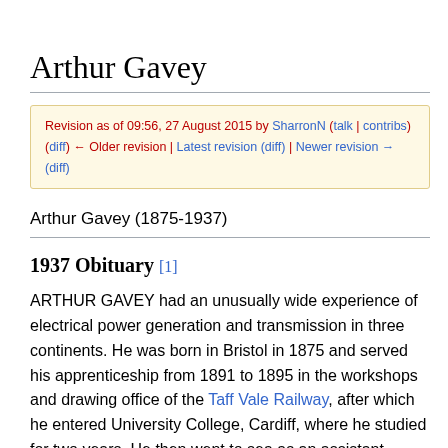Arthur Gavey
Revision as of 09:56, 27 August 2015 by SharronN (talk | contribs)
(diff) ← Older revision | Latest revision (diff) | Newer revision → (diff)
Arthur Gavey (1875-1937)
1937 Obituary [1]
ARTHUR GAVEY had an unusually wide experience of electrical power generation and transmission in three continents. He was born in Bristol in 1875 and served his apprenticeship from 1891 to 1895 in the workshops and drawing office of the Taff Vale Railway, after which he entered University College, Cardiff, where he studied for two years. He then went to sea as an assistant engineer in the Royal Navy, but three years later he turned his